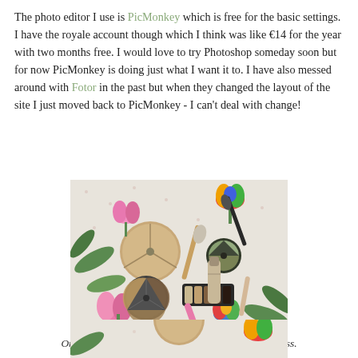The photo editor I use is PicMonkey which is free for the basic settings. I have the royale account though which I think was like €14 for the year with two months free. I would love to try Photoshop someday soon but for now PicMonkey is doing just what I want it to. I have also messed around with Fotor in the past but when they changed the layout of the site I just moved back to PicMonkey - I can't deal with change!
[Figure (photo): Overhead flatlay photo of makeup products (powder compacts, brushes, foundation, eyeshadow palette) arranged on a white floral fabric with colorful pink and rainbow tulips.]
Original picture with no crop and unedited brightness.
[Figure (photo): Second photo of the same makeup flatlay, partially visible at bottom of page.]